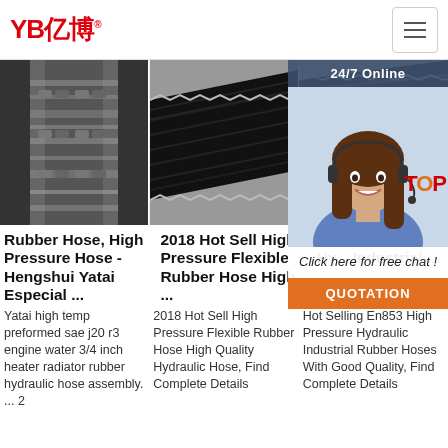YB亿博® [hamburger menu]
[Figure (photo): Metallic rubber hose fitting with ribbed metal connector, close-up product photo]
[Figure (photo): Black high pressure flexible rubber hose, close-up diagonal view showing texture]
[Figure (photo): Dark rubber hose with 24/7 Online chat overlay showing customer service representative]
Rubber Hose, High Pressure Hose - Hengshui Yatai Especial ...
2018 Hot Sell High Pressure Flexible Rubber Hose High ...
Ho... En... Pre... Hy... Industrial ...
Yatai high temp preformed sae j20 r3 engine water 3/4 inch heater radiator rubber hydraulic hose assembly. ... 2
2018 Hot Sell High Pressure Flexible Rubber Hose High Quality Hydraulic Hose, Find Complete Details
Hot Selling En853 High Pressure Hydraulic Industrial Rubber Hoses With Good Quality, Find Complete Details